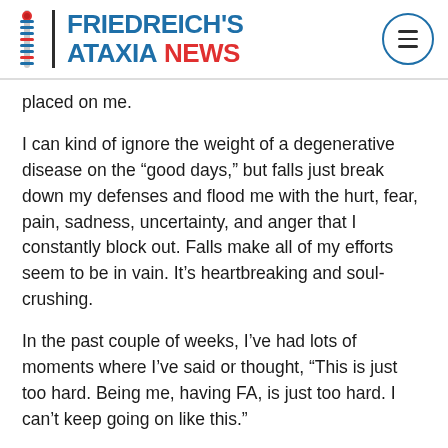FRIEDREICH'S ATAXIA NEWS
placed on me.
I can kind of ignore the weight of a degenerative disease on the “good days,” but falls just break down my defenses and flood me with the hurt, fear, pain, sadness, uncertainty, and anger that I constantly block out. Falls make all of my efforts seem to be in vain. It’s heartbreaking and soul-crushing.
In the past couple of weeks, I’ve had lots of moments where I’ve said or thought, “This is just too hard. Being me, having FA, is just too hard. I can’t keep going on like this.”
When I reach this point, where I’m at the end of myself, that’s when my faith, family, and friends carry me.